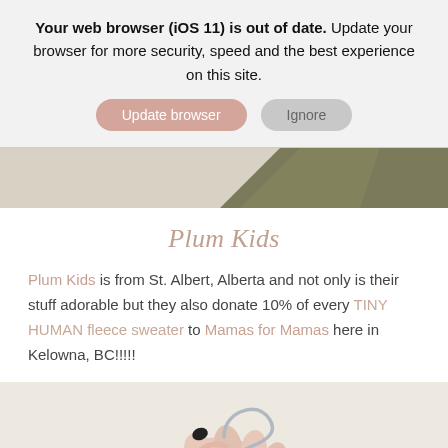Your web browser (iOS 11) is out of date. Update your browser for more security, speed and the best experience on this site.
Update browser | Ignore
[Figure (photo): Partial photo showing a blurred background with an olive/khaki colored shape in the upper right corner]
Plum Kids
Plum Kids is from St. Albert, Alberta and not only is their stuff adorable but they also donate 10% of every TINY HUMAN fleece sweater to Mamas for Mamas here in Kelowna, BC!!!!!
[Figure (photo): A hand with dark nail polish holding a clear/silver wire garment hanger against a light background. The person is wearing a light pink long-sleeve top.]